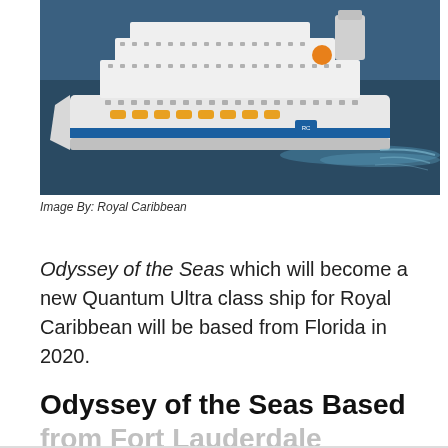[Figure (photo): Aerial view of a large white Royal Caribbean cruise ship sailing on dark blue ocean water, with yellow lifeboats visible along the side and a distinctive funnel at the stern.]
Image By: Royal Caribbean
Odyssey of the Seas which will become a new Quantum Ultra class ship for Royal Caribbean will be based from Florida in 2020.
Odyssey of the Seas Based from Fort Lauderdale